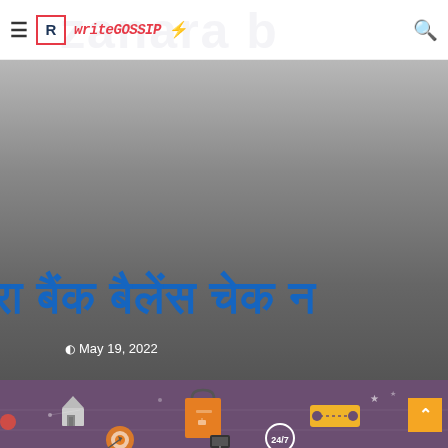writeGOSSIP - navigation header with hamburger menu, logo [R], brand name writeGOSSIP, and search icon
[Figure (screenshot): Gray gradient banner section with Hindi text reading partial article title about bank balance check, dated May 19, 2022]
May 19, 2022
[Figure (illustration): Purple background with flat design icons: house, shopping bag, target/bullseye, smartphone, 24/7 badge, tickets, and decorative elements]